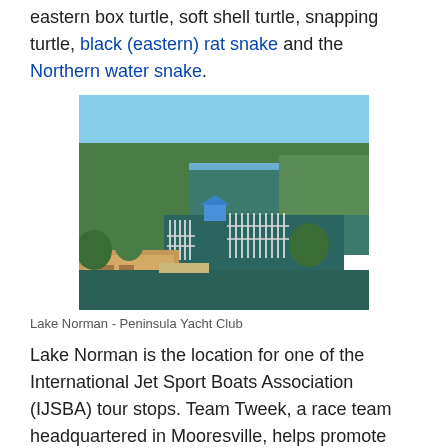eastern box turtle, soft shell turtle, snapping turtle, black (eastern) rat snake and the Northern water snake.
[Figure (photo): Aerial view of Lake Norman showing Peninsula Yacht Club with marina, boats docked at piers, green tree-covered land, and the lake water.]
Lake Norman - Peninsula Yacht Club
Lake Norman is the location for one of the International Jet Sport Boats Association (IJSBA) tour stops. Team Tweek, a race team headquartered in Mooresville, helps promote and coordinate the annual event. It also boasts two yacht clubs: the Lake Norman Yacht Club and the Peninsula